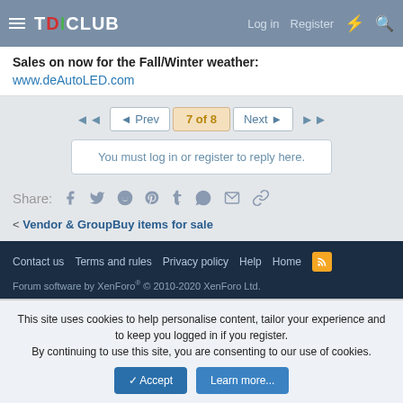TDICLUB  Log in  Register
Sales on now for the Fall/Winter weather: www.deAutoLED.com
◄◄  ◄ Prev  7 of 8  Next ►  ►►
You must log in or register to reply here.
Share:
< Vendor & GroupBuy items for sale
Contact us  Terms and rules  Privacy policy  Help  Home  [RSS]  Forum software by XenForo® © 2010-2020 XenForo Ltd.
This site uses cookies to help personalise content, tailor your experience and to keep you logged in if you register. By continuing to use this site, you are consenting to our use of cookies.
✓ Accept  Learn more...